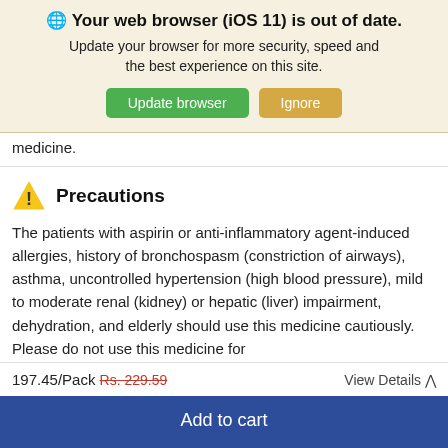[Figure (screenshot): Browser update notification banner with globe icon, bold title 'Your web browser (iOS 11) is out of date.', subtitle text, and two buttons: 'Update browser' (green) and 'Ignore' (orange/tan)]
medicine.
Precautions
The patients with aspirin or anti-inflammatory agent-induced allergies, history of bronchospasm (constriction of airways), asthma, uncontrolled hypertension (high blood pressure), mild to moderate renal (kidney) or hepatic (liver) impairment, dehydration, and elderly should use this medicine cautiously. Please do not use this medicine for
197.45/Pack Rs. 229.59   View Details ∧
Add to cart